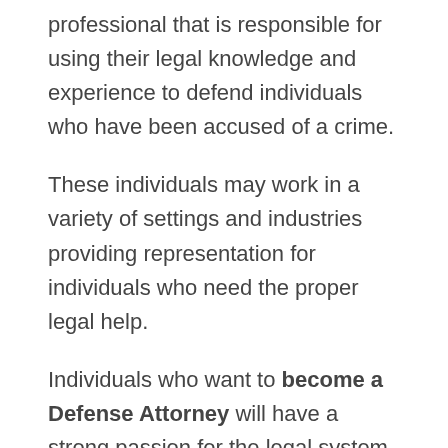professional that is responsible for using their legal knowledge and experience to defend individuals who have been accused of a crime.
These individuals may work in a variety of settings and industries providing representation for individuals who need the proper legal help.
Individuals who want to become a Defense Attorney will have a strong passion for the legal system, be well versed with the written language and have strong debating and communication skills.